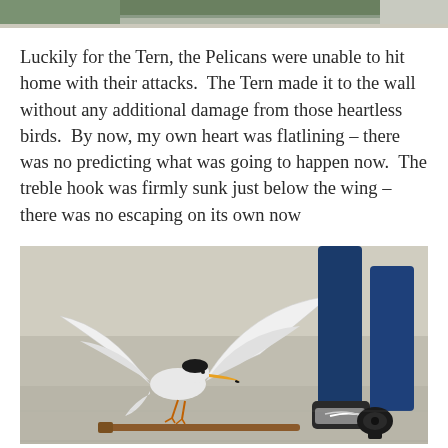[Figure (photo): Partial top strip of a photo, appears to show water or a waterway scene, cropped at top of page.]
Luckily for the Tern, the Pelicans were unable to hit home with their attacks.  The Tern made it to the wall without any additional damage from those heartless birds.  By now, my own heart was flatlining – there was no predicting what was going to happen now.  The treble hook was firmly sunk just below the wing – there was no escaping on its own now
[Figure (photo): A tern bird with wings spread open, beak open showing orange-yellow color, landing or taking off on a concrete surface. In the background, a person's legs in jeans and Nike sneakers, and a fishing rod tip and reel on the ground.]